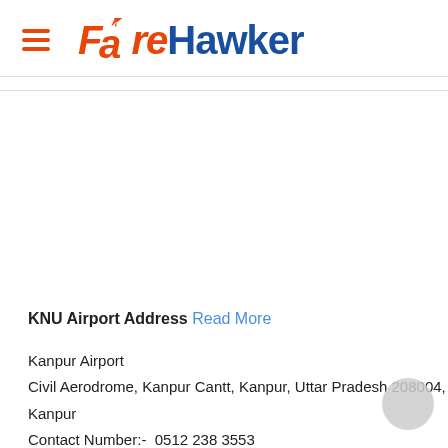FareHawker
KNU Airport Address Read More
Kanpur Airport
Civil Aerodrome, Kanpur Cantt, Kanpur, Uttar Pradesh 208004, Kanpur
Contact Number:-  0512 238 3553
Country:-  India